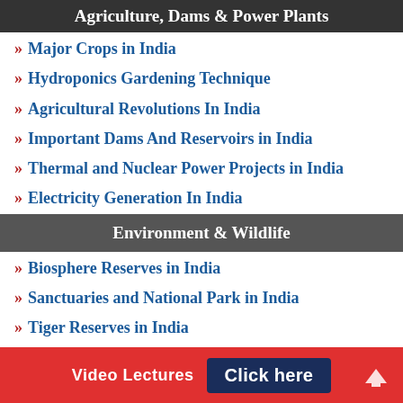Agriculture, Dams & Power Plants
Major Crops in India
Hydroponics Gardening Technique
Agricultural Revolutions In India
Important Dams And Reservoirs in India
Thermal and Nuclear Power Projects in India
Electricity Generation In India
Environment & Wildlife
Biosphere Reserves in India
Sanctuaries and National Park in India
Tiger Reserves in India
IUCN Red List of India
Awards, Honours & Prizes
Video Lectures  Click here